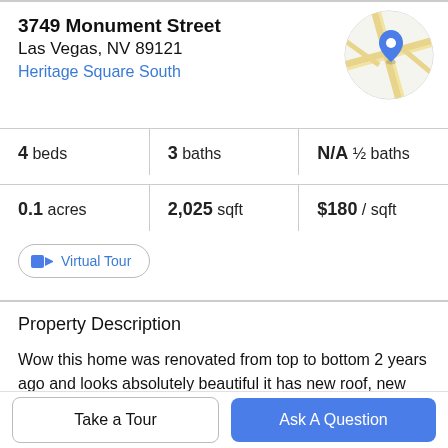3749 Monument Street
Las Vegas, NV 89121
Heritage Square South
[Figure (map): Circular map thumbnail showing street map with blue location pin marker]
4 beds   3 baths   N/A ½ baths
0.1 acres   2,025 sqft   $180 / sqft
🎥 Virtual Tour
Property Description
Wow this home was renovated from top to bottom 2 years ago and looks absolutely beautiful it has new roof, new A/C, New flooring up and down, new deck flooring
(upstairs) Added new closets both bedrooms (stairs, all
Take a Tour
Ask A Question